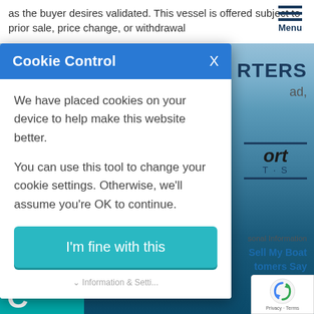as the buyer desires validated. This vessel is offered subject to prior sale, price change, or withdrawal
[Figure (screenshot): Cookie Control modal dialog overlay on a boat broker website with water background. Modal has blue header with 'Cookie Control' title and X close button, body text about cookies, teal 'I'm fine with this' button, and partial footer link. Behind modal: partial website content including RTERS heading, ad text, logo, navigation links (Contact Us, Login), reCAPTCHA badge, teal bar with C letter, and hamburger menu.]
Cookie Control
We have placed cookies on your device to help make this website better.
You can use this tool to change your cookie settings. Otherwise, we'll assume you're OK to continue.
I'm fine with this
sonal Information
Sell My Boat
tomers Say
Contact Us | Login